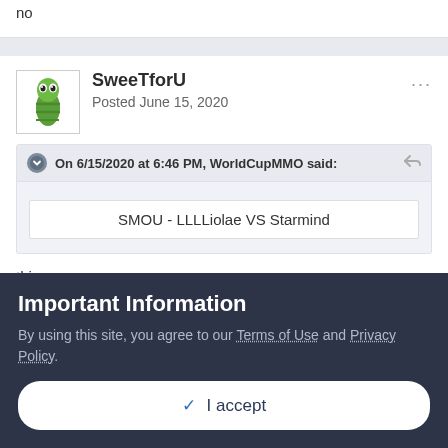no
SweeTforU
Posted June 15, 2020
On 6/15/2020 at 6:46 PM, WorldCupMMO said:
SMOU - LLLLiolae VS Starmind
this
Important Information
By using this site, you agree to our Terms of Use and Privacy Policy.
✓  I accept